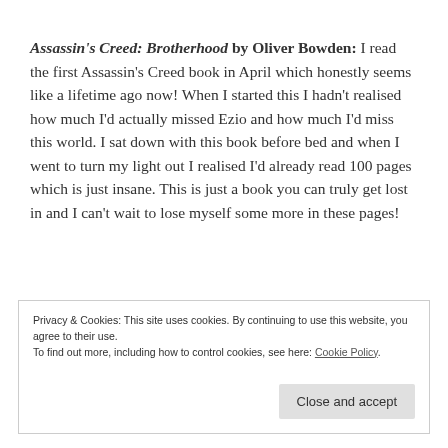Assassin's Creed: Brotherhood by Oliver Bowden: I read the first Assassin's Creed book in April which honestly seems like a lifetime ago now! When I started this I hadn't realised how much I'd actually missed Ezio and how much I'd miss this world. I sat down with this book before bed and when I went to turn my light out I realised I'd already read 100 pages which is just insane. This is just a book you can truly get lost in and I can't wait to lose myself some more in these pages!
Privacy & Cookies: This site uses cookies. By continuing to use this website, you agree to their use. To find out more, including how to control cookies, see here: Cookie Policy